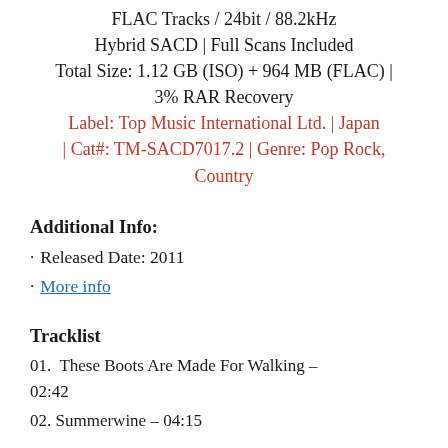FLAC Tracks / 24bit / 88.2kHz
Hybrid SACD | Full Scans Included
Total Size: 1.12 GB (ISO) + 964 MB (FLAC) | 3% RAR Recovery
Label: Top Music International Ltd. | Japan | Cat#: TM-SACD7017.2 | Genre: Pop Rock, Country
Additional Info:
Released Date: 2011
More info
Tracklist
01.  These Boots Are Made For Walking – 02:42
02. Summerwine – 04:15